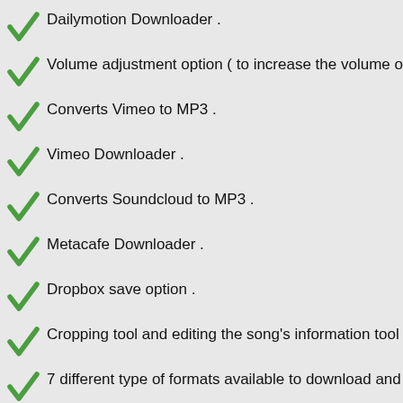Dailymotion Downloader .
Volume adjustment option ( to increase the volume of the file if
Converts Vimeo to MP3 .
Vimeo Downloader .
Converts Soundcloud to MP3 .
Metacafe Downloader .
Dropbox save option .
Cropping tool and editing the song's information tool ( artist/gen
7 different type of formats available to download and convert : M
Have your converted files anywhere with you, on any d
All you need is a Dropbox.com account ( for free ) and you can
video or MP3 with you wherever you go and access it on any d
This can be done by simply clicking on *save to dropbox* butto
Convert and download from the most popular websites
Do you use other sites to watch your favorite videos online or li
problem ! We got you covered ! Current available online resour